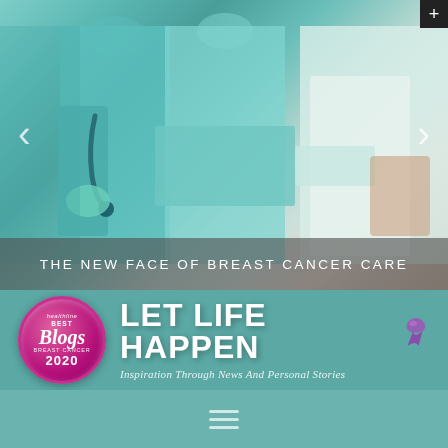[Figure (photo): Medical professionals in scrubs and white coats, torsos visible, one holding a stethoscope, with navigation arrows overlaid. Slideshow banner image.]
THE NEW FACE OF BREAST CANCER CARE
[Figure (logo): Healthline Best Blogs Breast Cancer 2020 badge (circular pink/magenta) alongside Let Life Happen logo with purple ribbon, subtitle: Inspiration Through News And Personal Stories]
[Figure (other): Hamburger menu icon (three horizontal lines) on teal background]